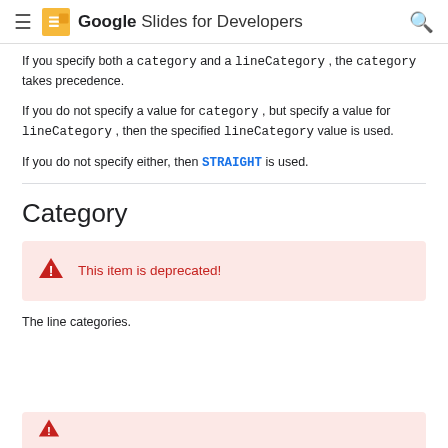Google Slides for Developers
If you specify both a category and a lineCategory, the category takes precedence.
If you do not specify a value for category, but specify a value for lineCategory, then the specified lineCategory value is used.
If you do not specify either, then STRAIGHT is used.
Category
This item is deprecated!
The line categories.